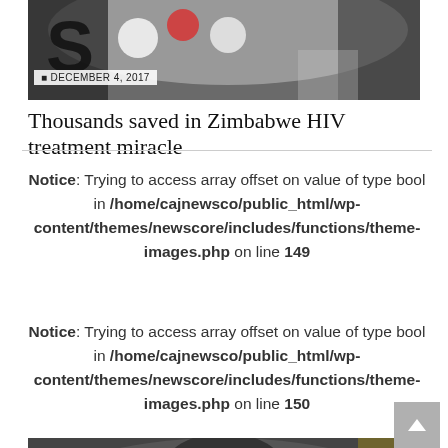[Figure (photo): Top portion of an image showing pills/medications on a dark background with the letter shapes]
DECEMBER 4, 2017
Thousands saved in Zimbabwe HIV treatment miracle
Notice: Trying to access array offset on value of type bool in /home/cajnewsco/public_html/wp-content/themes/newscore/includes/functions/theme-images.php on line 149
Notice: Trying to access array offset on value of type bool in /home/cajnewsco/public_html/wp-content/themes/newscore/includes/functions/theme-images.php on line 150
[Figure (photo): Bottom portion showing an elderly African man wearing glasses]